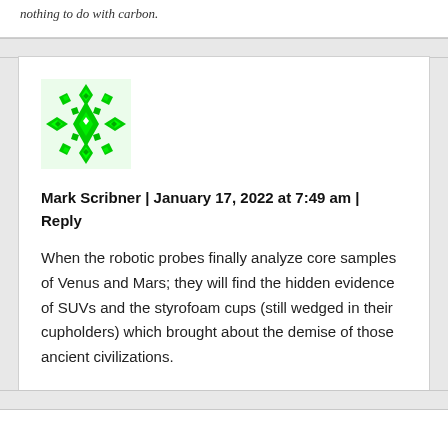nothing to do with carbon.
[Figure (illustration): Green geometric snowflake/kaleidoscope avatar for user Mark Scribner]
Mark Scribner | January 17, 2022 at 7:49 am | Reply
When the robotic probes finally analyze core samples of Venus and Mars; they will find the hidden evidence of SUVs and the styrofoam cups (still wedged in their cupholders) which brought about the demise of those ancient civilizations.